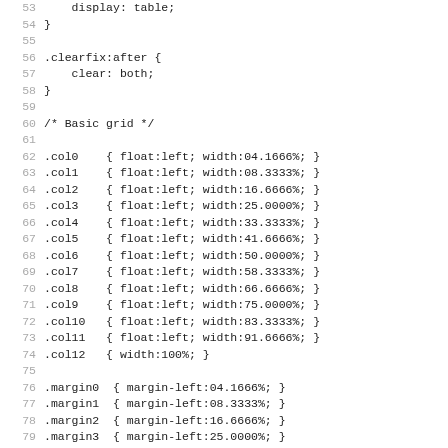CSS code listing lines 53-85 showing display:table, clearfix:after, basic grid column classes (.col0-.col12) and margin classes (.margin0-.margin8)